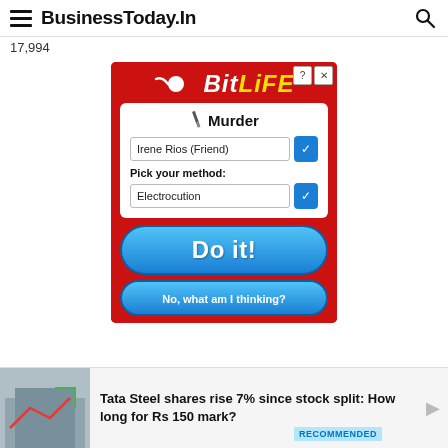BusinessToday.In
17,994
[Figure (screenshot): BitLife game advertisement showing a 'Murder' dialog with a dropdown for 'Irene Rios (Friend)', a 'Pick your method:' label with 'Electrocution' selected, a large blue 'Do it!' button, and a smaller 'No, what am I thinking?' button, all on a red background with the BitLife logo at top.]
Tata Steel shares rise 7% since stock split: How long for Rs 150 mark?
RECOMMENDED